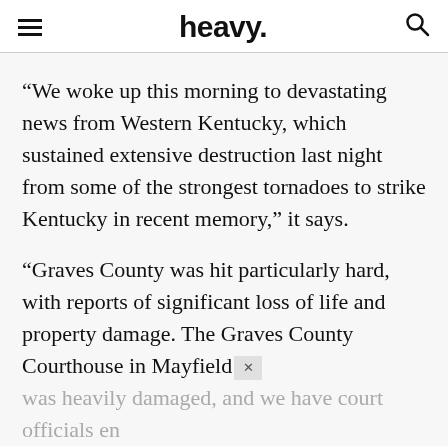heavy.
“We woke up this morning to devastating news from Western Kentucky, which sustained extensive destruction last night from some of the strongest tornadoes to strike Kentucky in recent memory,” it says.
“Graves County was hit particularly hard, with reports of significant loss of life and property damage. The Graves County Courthouse in Mayfield was heavily damaged, and we have court officials en